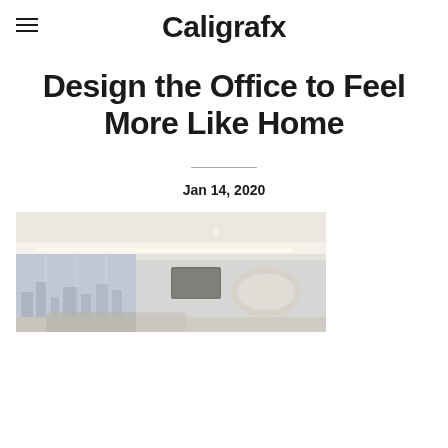Caligrafx
Design the Office to Feel More Like Home
Jan 14, 2020
[Figure (photo): Interior photo of a modern office/living space with cove LED ceiling lighting, floor-to-ceiling windows showing a city skyline, a wall-mounted TV, an oval pendant light fixture, and a sofa partially visible at the bottom.]